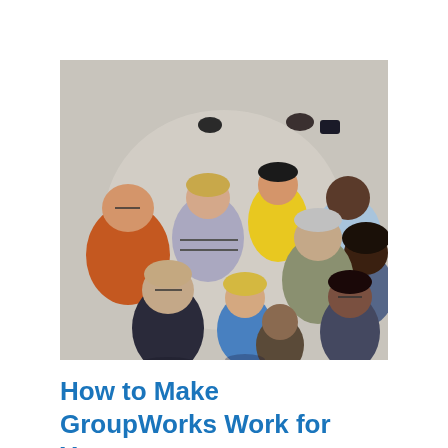[Figure (photo): Overhead view of a diverse group of approximately 10 people standing in a circle looking upward at the camera, wearing various colorful clothing on a light gray floor.]
How to Make GroupWorks Work for You